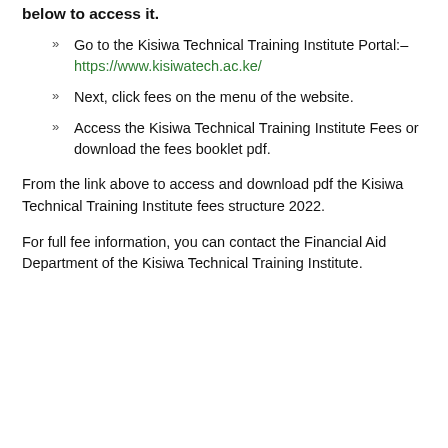below to access it.
Go to the Kisiwa Technical Training Institute Portal:– https://www.kisiwatech.ac.ke/
Next, click fees on the menu of the website.
Access the Kisiwa Technical Training Institute Fees or download the fees booklet pdf.
From the link above to access and download pdf the Kisiwa Technical Training Institute fees structure 2022.
For full fee information, you can contact the Financial Aid Department of the Kisiwa Technical Training Institute.